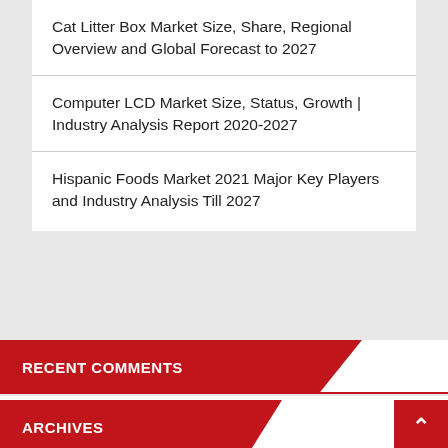Cat Litter Box Market Size, Share, Regional Overview and Global Forecast to 2027
Computer LCD Market Size, Status, Growth | Industry Analysis Report 2020-2027
Hispanic Foods Market 2021 Major Key Players and Industry Analysis Till 2027
RECENT COMMENTS
ARCHIVES